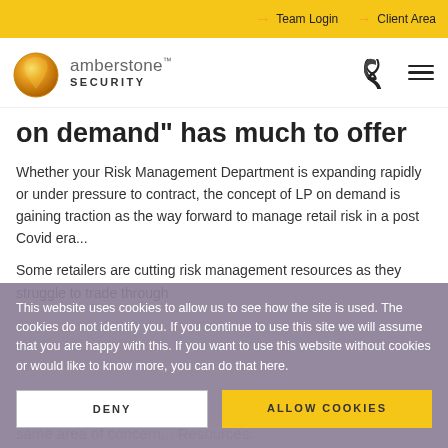Team Login | Client Area
[Figure (logo): Amberstone Security logo with amber gemstone and text]
on demand" has much to offer
Whether your Risk Management Department is expanding rapidly or under pressure to contract, the concept of LP on demand is gaining traction as the way forward to manage retail risk in a post Covid era...
Some retailers are cutting risk management resources as they struggle to trade through
This website uses cookies to allow us to see how the site is used. The cookies do not identify you. If you continue to use this site we will assume that you are happy with this. If you want to use this website without cookies or would like to know more, you can do that here.
same area of concern... Resources.